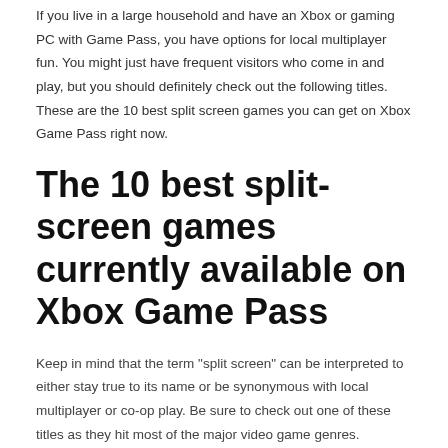If you live in a large household and have an Xbox or gaming PC with Game Pass, you have options for local multiplayer fun. You might just have frequent visitors who come in and play, but you should definitely check out the following titles. These are the 10 best split screen games you can get on Xbox Game Pass right now.
The 10 best split-screen games currently available on Xbox Game Pass
Keep in mind that the term "split screen" can be interpreted to either stay true to its name or be synonymous with local multiplayer or co-op play. Be sure to check out one of these titles as they hit most of the major video game genres.
[Figure (photo): Fuzion Frenzy on Xbox Game Pass - broken image placeholder]
Fuzion madness